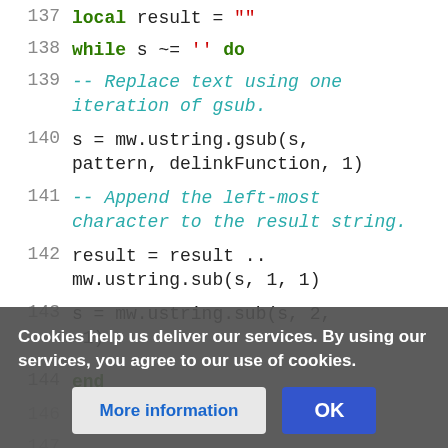[Figure (screenshot): Code editor screenshot showing Lua source code lines 137-148 with syntax highlighting. Lines 137-144 visible clearly, lines 146-148 partially visible behind a cookie consent overlay banner at the bottom.]
Cookies help us deliver our services. By using our services, you agree to our use of cookies.
More information   OK